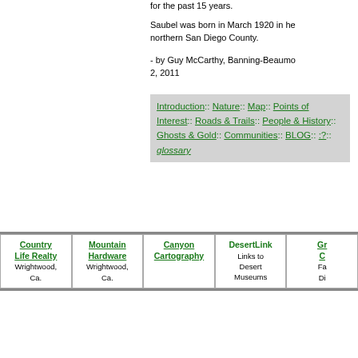for the past 15 years.
Saubel was born in March 1920 in he northern San Diego County.
- by Guy McCarthy, Banning-Beaumo 2, 2011
Introduction:: Nature:: Map:: Points of Interest:: Roads & Trails:: People & History:: Ghosts & Gold:: Communities:: BLOG:: :?:: glossary
| Country Life Realty | Mountain Hardware | Canyon Cartography | DesertLink | Gr C |
| --- | --- | --- | --- | --- |
| Wrightwood, Ca. | Wrightwood, Ca. |  | Links to Desert Museums | Fa Di |